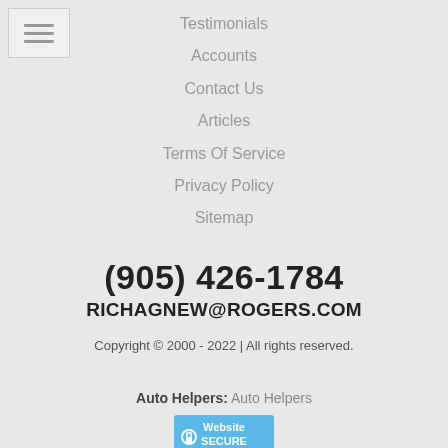[Figure (other): Hamburger menu button icon with three horizontal lines]
Testimonials
Accounts
Contact Us
Articles
Terms Of Service
Privacy Policy
Sitemap
(905) 426-1784
RICHAGNEW@ROGERS.COM
Copyright © 2000 - 2022 | All rights reserved.
Auto Helpers: Auto Helpers
[Figure (logo): Website Secure badge/logo]